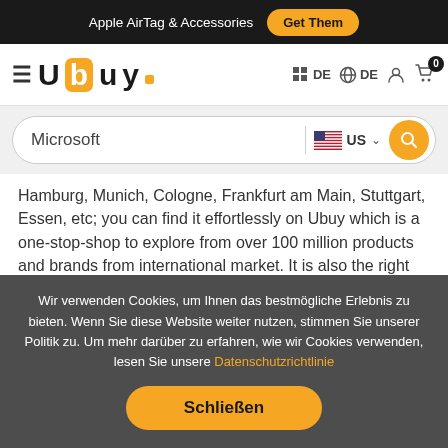Apple AirTag & Accessories  Get Them
[Figure (logo): Ubuy logo with hamburger menu icon and navigation icons (DE language selector, globe DE, user icon, cart with 0 badge)]
[Figure (screenshot): Search bar with 'Microsoft' query and US country selector with flag]
Hamburg, Munich, Cologne, Frankfurt am Main, Stuttgart, Essen, etc; you can find it effortlessly on Ubuy which is a one-stop-shop to explore from over 100 million products and brands from international market. It is also the right place to find products that are not easily available elsewhere.
To find a perfect collection of unique and popular global products from Microsoft, Ubuy online shopping can help you locate the right product that suits your specific requirements and
Wir verwenden Cookies, um Ihnen das bestmögliche Erlebnis zu bieten. Wenn Sie diese Website weiter nutzen, stimmen Sie unserer Politik zu. Um mehr darüber zu erfahren, wie wir Cookies verwenden, lesen Sie unsere Datenschutzrichtlinie